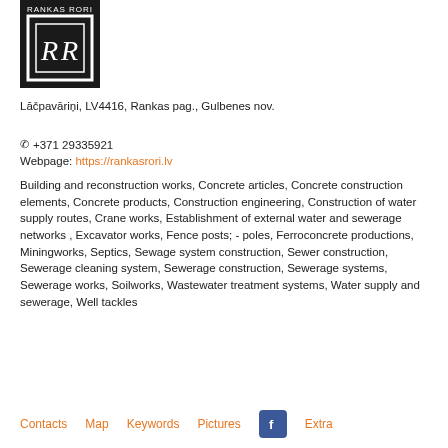[Figure (logo): Rankas Rori company logo — black square with white RR monogram letters inside a square frame, with 'RANKAS RORI' text at top]
Lāčpavāriņi, LV4416, Rankas pag., Gulbenes nov.
☎ +371 29335921
Webpage: https://rankasrori.lv
Building and reconstruction works, Concrete articles, Concrete construction elements, Concrete products, Construction engineering, Construction of water supply routes, Crane works, Establishment of external water and sewerage networks , Excavator works, Fence posts; - poles, Ferroconcrete productions, Miningworks, Septics, Sewage system construction, Sewer construction, Sewerage cleaning system, Sewerage construction, Sewerage systems, Sewerage works, Soilworks, Wastewater treatment systems, Water supply and sewerage, Well tackles
Contacts   Map   Keywords   Pictures   [Facebook]   Extra